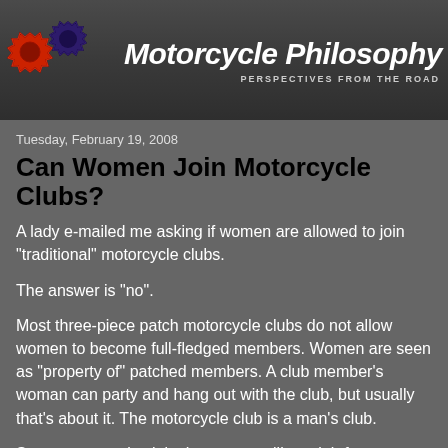[Figure (logo): Motorcycle Philosophy blog header with two interlocking gear icons (red and dark blue/purple) and bold italic white text 'Motorcycle Philosophy' with subtitle 'PERSPECTIVES FROM THE ROAD']
Tuesday, February 19, 2008
Can Women Join Motorcycle Clubs?
A lady e-mailed me asking if women are allowed to join "traditional" motorcycle clubs.
The answer is "no".
Most three-piece patch motorcycle clubs do not allow women to become full-fledged members. Women are seen as "property of" patched members. A club member's woman can party and hang out with the club, but usually that's about it. The motorcycle club is a man's club.
Some motorcycle clubs have an auxiliary club for women,